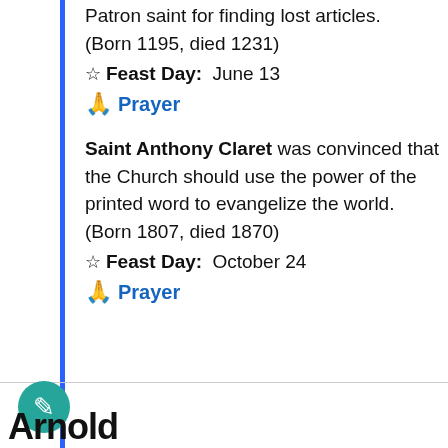Patron saint for finding lost articles. (Born 1195, died 1231)
☆ Feast Day: June 13
🙏 Prayer
Saint Anthony Claret was convinced that the Church should use the power of the printed word to evangelize the world. (Born 1807, died 1870)
☆ Feast Day: October 24
🙏 Prayer
Arnold